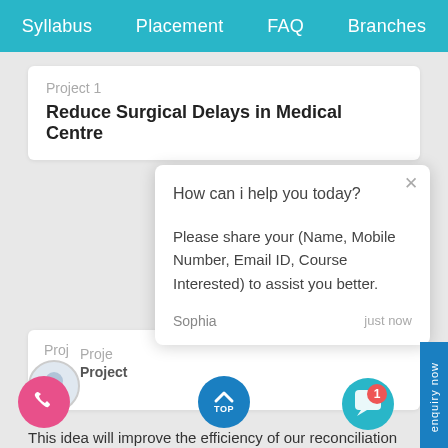Syllabus   Placement   FAQ   Branches
Project 1
Reduce Surgical Delays in Medical Centre
How can i help you today?
Please share your (Name, Mobile Number, Email ID, Course Interested) to assist you better.
Sophia   just now
Proj
Project
This idea will improve the efficiency of our reconciliation processes dardized and centralized procedures and real-time reporting.